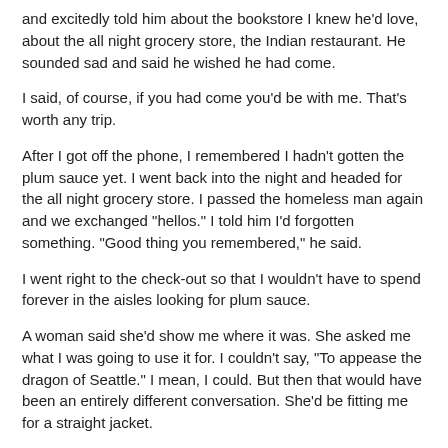and excitedly told him about the bookstore I knew he'd love, about the all night grocery store, the Indian restaurant. He sounded sad and said he wished he had come.
I said, of course, if you had come you'd be with me. That's worth any trip.
After I got off the phone, I remembered I hadn't gotten the plum sauce yet. I went back into the night and headed for the all night grocery store. I passed the homeless man again and we exchanged "hellos." I told him I'd forgotten something. "Good thing you remembered," he said.
I went right to the check-out so that I wouldn't have to spend forever in the aisles looking for plum sauce.
A woman said she'd show me where it was. She asked me what I was going to use it for. I couldn't say, "To appease the dragon of Seattle." I mean, I could. But then that would have been an entirely different conversation. She'd be fitting me for a straight jacket.